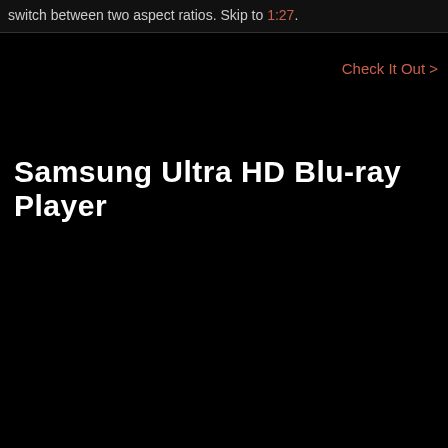switch between two aspect ratios. Skip to 1:27.
Check It Out >
Samsung Ultra HD Blu-ray Player